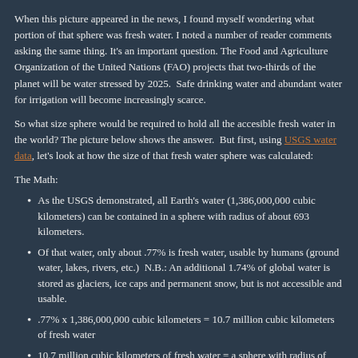When this picture appeared in the news, I found myself wondering what portion of that sphere was fresh water. I noted a number of reader comments asking the same thing. It's an important question. The Food and Agriculture Organization of the United Nations (FAO) projects that two-thirds of the planet will be water stressed by 2025.  Safe drinking water and abundant water for irrigation will become increasingly scarce.
So what size sphere would be required to hold all the accesible fresh water in the world? The picture below shows the answer.  But first, using USGS water data, let's look at how the size of that fresh water sphere was calculated:
The Math:
As the USGS demonstrated, all Earth's water (1,386,000,000 cubic kilometers) can be contained in a sphere with radius of about 693 kilometers.
Of that water, only about .77% is fresh water, usable by humans (ground water, lakes, rivers, etc.)  N.B.: An additional 1.74% of global water is stored as glaciers, ice caps and permanent snow, but is not accessible and usable.
.77% x 1,386,000,000 cubic kilometers = 10.7 million cubic kilometers of fresh water
10.7 million cubic kilometers of fresh water = a sphere with radius of 137 kilometers
Here's the updated image, with spheres representing "All Water" and "Fresh